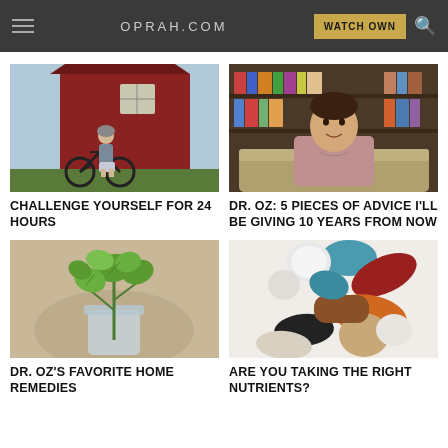OPRAH.COM | WATCH OWN
[Figure (photo): Woman with bicycle standing near a red barn]
CHALLENGE YOURSELF FOR 24 HOURS
[Figure (photo): Dr. Oz smiling, seated in front of bookshelves]
DR. OZ: 5 PIECES OF ADVICE I'LL BE GIVING 10 YEARS FROM NOW
[Figure (photo): Fresh mint herbs in a glass jar]
DR. OZ'S FAVORITE HOME REMEDIES
[Figure (photo): Colorful pills and supplements scattered on white background]
ARE YOU TAKING THE RIGHT NUTRIENTS?